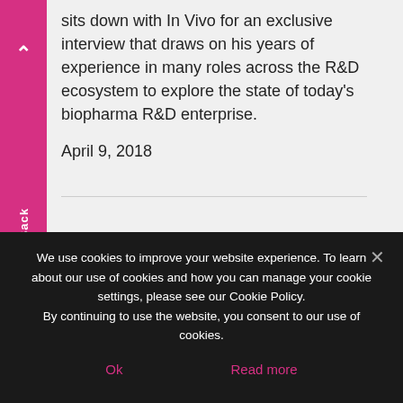sits down with In Vivo for an exclusive interview that draws on his years of experience in many roles across the R&D ecosystem to explore the state of today's biopharma R&D enterprise.
April 9, 2018
[Figure (illustration): Book/report cover image for 'Pharma's New R&D Models: Federating Innovation' with dark triangular design and magenta/pink abstract shapes]
Pharma's New R&D Models: Federating Innovation
We use cookies to improve your website experience. To learn about our use of cookies and how you can manage your cookie settings, please see our Cookie Policy.
By continuing to use the website, you consent to our use of cookies.
Ok
Read more